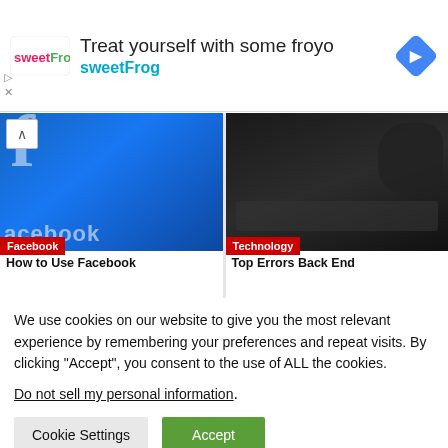[Figure (infographic): SweetFrog advertisement banner with logo, text 'Treat yourself with some froyo sweetFrog' and a diamond navigation icon]
[Figure (photo): Two article cards: left shows Facebook logo (blue background) with 'Facebook' red label and 'How to Use Facebook' title; right shows dark tech photo with 'Technology' red label and 'Top Errors Back End' title]
We use cookies on our website to give you the most relevant experience by remembering your preferences and repeat visits. By clicking “Accept”, you consent to the use of ALL the cookies.
Do not sell my personal information.
Cookie Settings
Accept